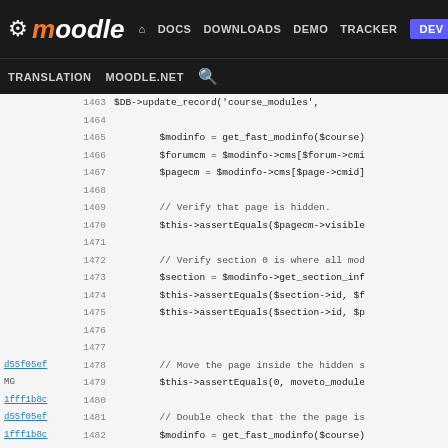moodle DOCS DOWNLOADS DEMO TRACKER DEV | TRANSLATION MOODLE.NET
[Figure (screenshot): Moodle developer documentation site header with navigation links: DOCS, DOWNLOADS, DEMO, TRACKER, DEV (active/highlighted), TRANSLATION, MOODLE.NET, and search icon]
Code viewer showing PHP source lines 1463-1488 with git blame annotations. Lines include $DB->update_record('course_modules', ...), $modinfo = get_fast_modinfo($course), $forumcm = $modinfo->cms[$forum->cmi, $pagecm = $modinfo->cms[$page->cmid], // Verify that page is hidden., $this->assertEquals($pagecm->visible, // Verify section 0 is where all mod, $section = $modinfo->get_section_inf, $this->assertEquals($section->id, $f, $this->assertEquals($section->id, $p, // Move the page inside the hidden s, $this->assertEquals(0, moveto_module, // Double check that the the page is, $modinfo = get_fast_modinfo($course), $pagecm = $modinfo->cms[$page->cmid], $this->assertEquals($pagecm->visible, }, /**, * Tests the function that deletes a cou